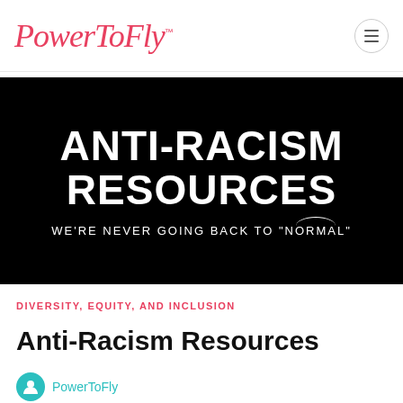PowerToFly™
[Figure (illustration): Black background banner image with bold white text reading 'ANTI-RACISM RESOURCES' and subtitle 'WE'RE NEVER GOING BACK TO "NORMAL"']
DIVERSITY, EQUITY, AND INCLUSION
Anti-Racism Resources
PowerToFly